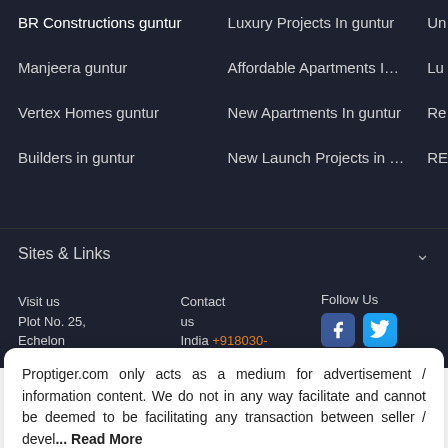BR Constructions guntur
Luxury Projects In guntur
Un
Manjeera guntur
Affordable Apartments I…
Lu
Vertex Homes guntur
New Apartments In guntur
Re
Builders in guntur
New Launch Projects in …
RE
Sites & Links
Visit us
Plot No. 25,
Echelon
Contact us
India +918030-178
Follow Us
Proptiger.com only acts as a medium for advertisement / information content. We do not in any way facilitate and cannot be deemed to be facilitating any transaction between seller / devel… Read More
Okay, Got It